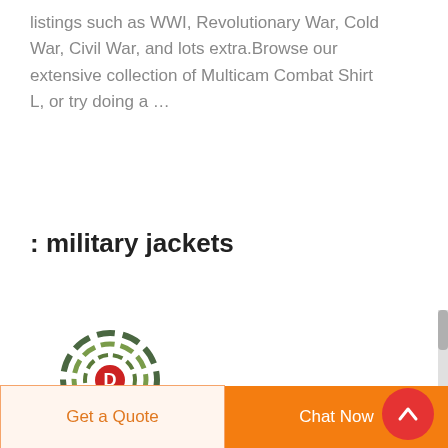listings such as WWI, Revolutionary War, Cold War, Civil War, and lots extra.Browse our extensive collection of Multicam Combat Shirt L, or try doing a …
: military jackets
[Figure (logo): Circular camouflage-patterned logo with a red 'D' in the center, resembling a target or scope reticle]
Get a Quote
Chat Now